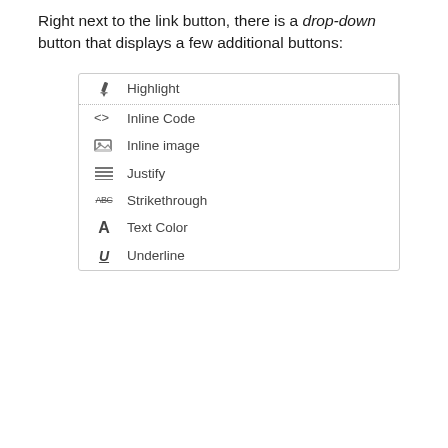Right next to the link button, there is a drop-down button that displays a few additional buttons:
[Figure (screenshot): A dropdown menu showing toolbar buttons: Highlight (with pen icon, separated by dotted border), Inline Code (with <> icon), Inline image (with image icon), Justify (with justify icon), Strikethrough (with ABC strikethrough), Text Color (with A), Underline (with underlined U)]